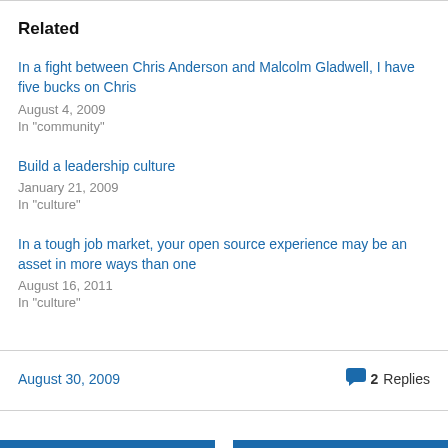Related
In a fight between Chris Anderson and Malcolm Gladwell, I have five bucks on Chris
August 4, 2009
In "community"
Build a leadership culture
January 21, 2009
In "culture"
In a tough job market, your open source experience may be an asset in more ways than one
August 16, 2011
In "culture"
August 30, 2009
2 Replies